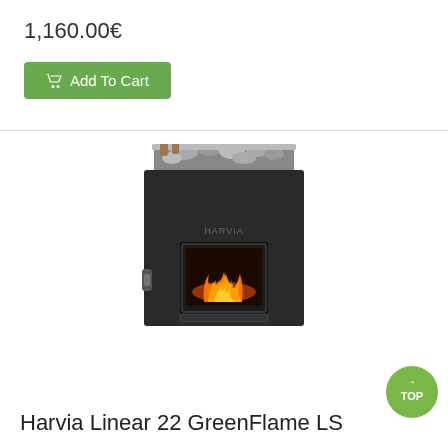1,160.00€
Add To Cart
[Figure (photo): Harvia Linear 22 GreenFlame LS sauna heater — a black box-shaped wood-burning stove with a glass-windowed firebox showing flames, rocks on top, and the Harvia logo on the front panel]
Harvia Linear 22 GreenFlame LS